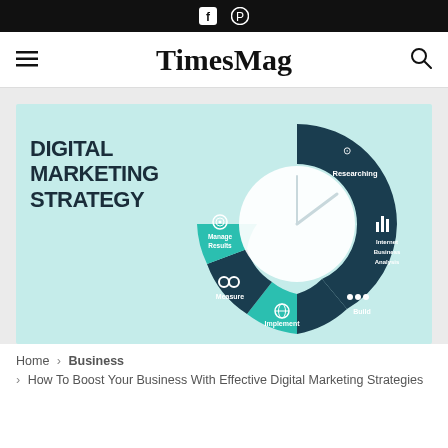f    pinterest icon
TimesMag
[Figure (infographic): Digital Marketing Strategy donut/wheel infographic with segments: Researching (dark teal), Internet Business Analysis (dark teal), Build (dark teal with people icons), Implement (teal with globe icon), Measure (dark teal with gear icons), Manage Results (teal with target icon). Large text on the left reads 'DIGITAL MARKETING STRATEGY'. Center of the donut is white/light with a clock hand pointer.]
Home  >  Business
  >  How To Boost Your Business With Effective Digital Marketing Strategies